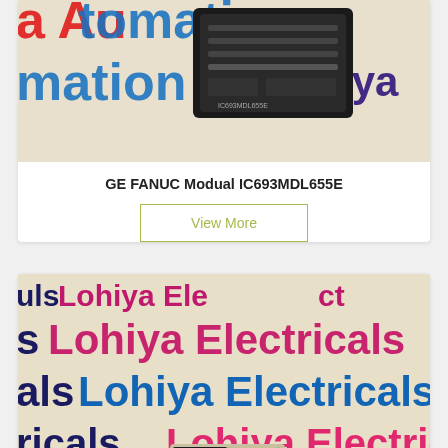[Figure (photo): Photo of GE FANUC module IC693MDL655E on a Lohiya Automation branded background]
GE FANUC Modual IC693MDL655E
View More
[Figure (photo): Photo of an industrial module (PA204) on a Lohiya Electricals branded background with pink, blue, and purple text]